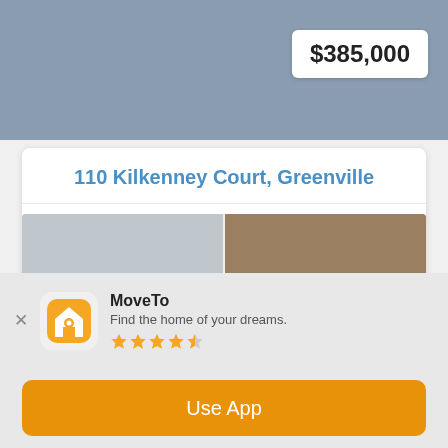[Figure (photo): Top photo of a property/driveway area, grey concrete surface]
$385,000
110 Kilkenney Court, Greenville
2 BEDS  2.5 BATHS
Be ready to fall in love with Glenbrooke, one of Greenville's premier townhome communities, with gorgeous Georgian architecture nestled in a private and peaceful develop...
[Figure (photo): Bottom strip photo of property exterior]
MoveTo
Find the home of your dreams.
Use App